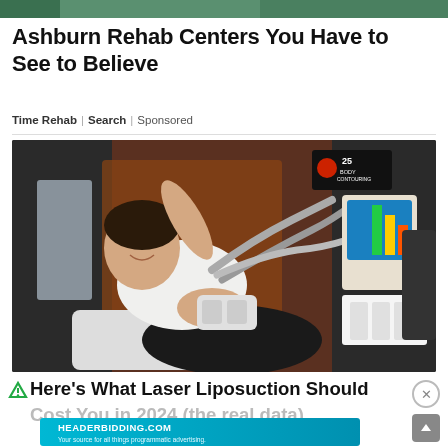[Figure (photo): Top banner image strip showing green/dark tones, partial view of a webpage header]
Ashburn Rehab Centers You Have to See to Believe
Time Rehab | Search | Sponsored
[Figure (photo): Photo of a woman lying on a treatment chair smiling, with medical/aesthetic body contouring machine equipment applied to her midsection. The machine has multiple hoses/applicators. A display screen and equipment station visible in background. Sign reading '25 Body Contouring' visible.]
Here's What Laser Liposuction Should Cost You in 2024 (the real data)
[Figure (screenshot): Advertisement banner for HeaderBidding.com with tagline 'Your source for all things programmatic advertising.' on a teal/blue gradient background with close button X in top right]